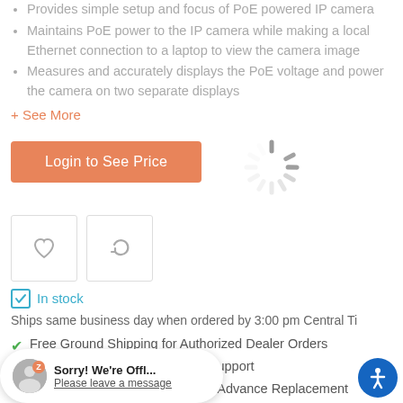Provides simple setup and focus of PoE powered IP camera
Maintains PoE power to the IP camera while making a local Ethernet connection to a laptop to view the camera image
Measures and accurately displays the PoE voltage and power the camera on two separate displays
+ See More
Login to See Price
In stock
Ships same business day when ordered by 3:00 pm Central Ti
Free Ground Shipping for Authorized Dealer Orders
Unlimited US-Based Technical Support
Industry-leading Warranties and Advance Replacement
Sorry! We're Offl... Please leave a message